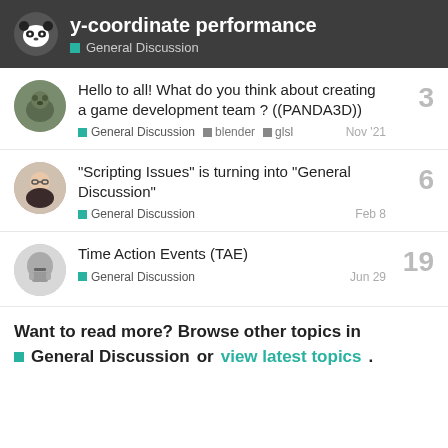y-coordinate performance — General Discussion
Hello to all! What do you think about creating a game development team ? ((PANDA3D))
General Discussion  blender  glsl  Nov '21  3
“Scripting Issues” is turning into “General Discussion”
General Discussion  Feb 8  6
Time Action Events (TAE)
General Discussion  Jun 29  19
Want to read more? Browse other topics in General Discussion or view latest topics.